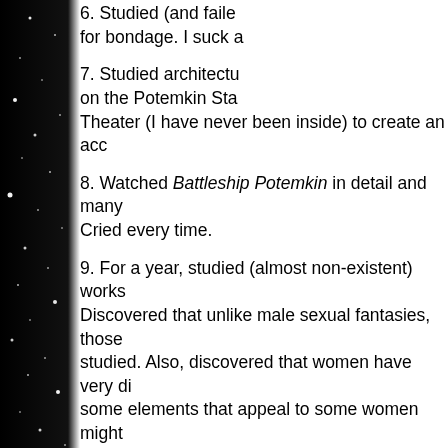[Figure (illustration): Dark starfield/space background strip on the left side of the page with white stars scattered against black sky]
6. Studied (and failed) for bondage. I suck a
7. Studied architectu on the Potemkin Sta Theater (I have never been inside) to create an acc
8. Watched Battleship Potemkin in detail and many Cried every time.
9. For a year, studied (almost non-existent) works Discovered that unlike male sexual fantasies, those studied. Also, discovered that women have very di some elements that appeal to some women might (kitchen objects and agricultural items, for instan mind. I am not a good housewife.)
10. Learned the rules and played Lemmings, a com me—as pretty much every other computer game Lemmings are cute.